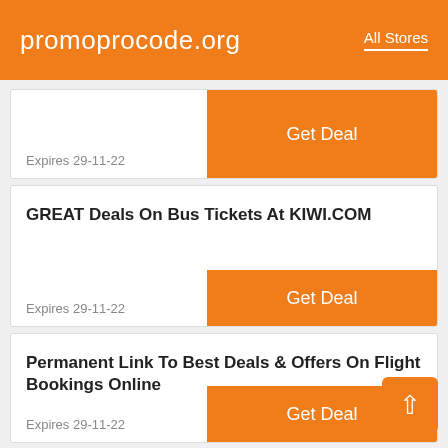promoprocode.org   All Stores
Expires 29-11-22
Get Deal
GREAT Deals On Bus Tickets At KIWI.COM
Expires 29-11-22
Get Deal
Permanent Link To Best Deals & Offers On Flight Bookings Online
Expires 29-11-22
Get Deal